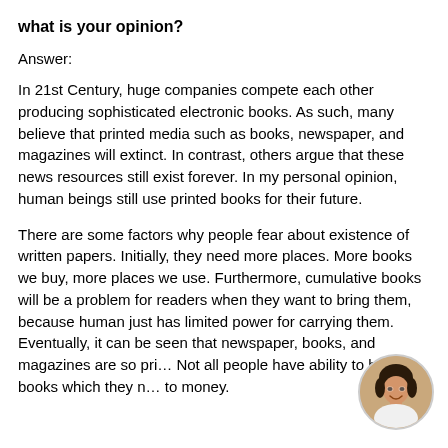what is your opinion?
Answer:
In 21st Century, huge companies compete each other producing sophisticated electronic books. As such, many believe that printed media such as books, newspaper, and magazines will extinct. In contrast, others argue that these news resources still exist forever. In my personal opinion, human beings still use printed books for their future.
There are some factors why people fear about existence of written papers. Initially, they need more places. More books we buy, more places we use. Furthermore, cumulative books will be a problem for readers when they want to bring them, because human just has limited power for carrying them. Eventually, it can be seen that newspaper, books, and magazines are so pric... Not all people have ability to buy all books which they n... to money.
[Figure (photo): Circular avatar photo of a smiling young woman]